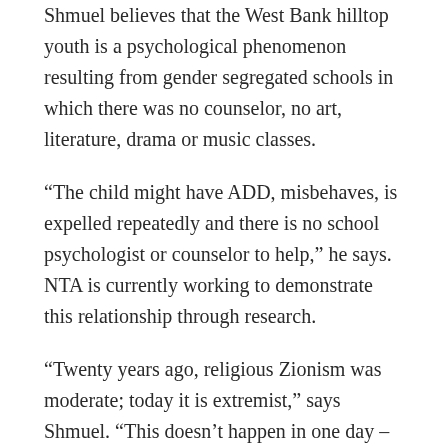Shmuel believes that the West Bank hilltop youth is a psychological phenomenon resulting from gender segregated schools in which there was no counselor, no art, literature, drama or music classes.
“The child might have ADD, misbehaves, is expelled repeatedly and there is no school psychologist or counselor to help,” he says. NTA is currently working to demonstrate this relationship through research.
“Twenty years ago, religious Zionism was moderate; today it is extremist,” says Shmuel. “This doesn’t happen in one day – and it’s because of this (Haredization) process. When you don’t